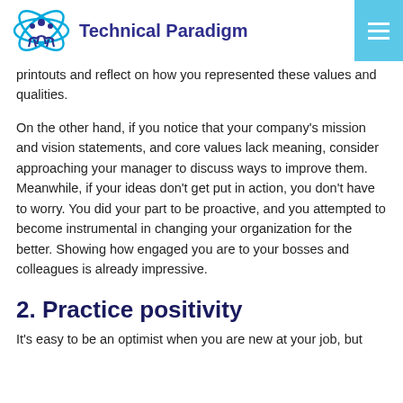Technical Paradigm
printouts and reflect on how you represented these values and qualities.
On the other hand, if you notice that your company’s mission and vision statements, and core values lack meaning, consider approaching your manager to discuss ways to improve them. Meanwhile, if your ideas don’t get put in action, you don’t have to worry. You did your part to be proactive, and you attempted to become instrumental in changing your organization for the better. Showing how engaged you are to your bosses and colleagues is already impressive.
2. Practice positivity
It’s easy to be an optimist when you are new at your job, but